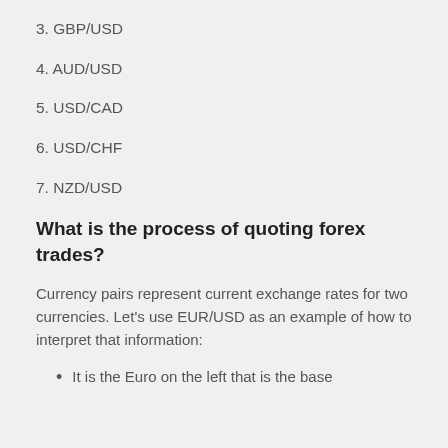3. GBP/USD
4. AUD/USD
5. USD/CAD
6. USD/CHF
7. NZD/USD
What is the process of quoting forex trades?
Currency pairs represent current exchange rates for two currencies. Let's use EUR/USD as an example of how to interpret that information:
It is the Euro on the left that is the base